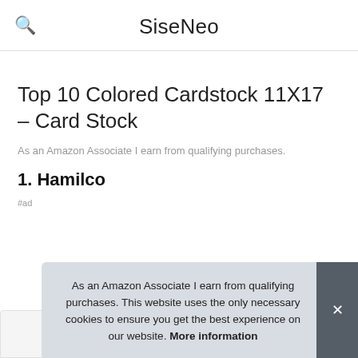SiseNeo
Top 10 Colored Cardstock 11X17 – Card Stock
As an Amazon Associate I earn from qualifying purchases.
1. Hamilco
#ad
As an Amazon Associate I earn from qualifying purchases. This website uses the only necessary cookies to ensure you get the best experience on our website. More information